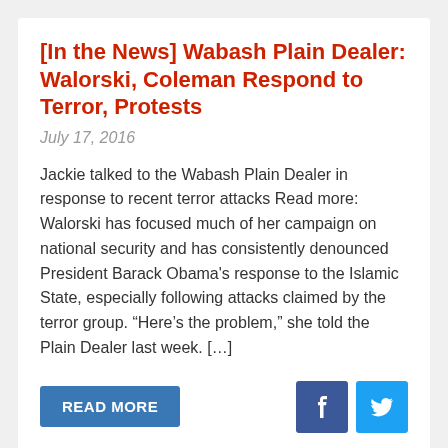[In the News] Wabash Plain Dealer: Walorski, Coleman Respond to Terror, Protests
July 17, 2016
Jackie talked to the Wabash Plain Dealer in response to recent terror attacks Read more: Walorski has focused much of her campaign on national security and has consistently denounced President Barack Obama's response to the Islamic State, especially following attacks claimed by the terror group. “Here’s the problem,” she told the Plain Dealer last week. […]
[Release] Walorski Campaign